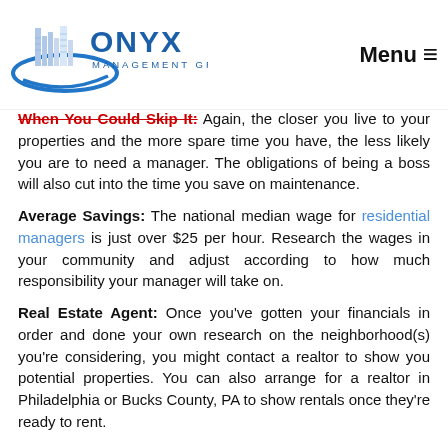Onyx Management Group — Menu
When You Could Skip It: Again, the closer you live to your properties and the more spare time you have, the less likely you are to need a manager. The obligations of being a boss will also cut into the time you save on maintenance.
Average Savings: The national median wage for residential managers is just over $25 per hour. Research the wages in your community and adjust according to how much responsibility your manager will take on.
Real Estate Agent: Once you've gotten your financials in order and done your own research on the neighborhood(s) you're considering, you might contact a realtor to show you potential properties. You can also arrange for a realtor in Philadelphia or Bucks County, PA to show rentals once they're ready to rent.
When You Could Skip It: It depends. Even if you're a local, or have thoroughly researched the neighborhood(s) you're considering, it's important to...